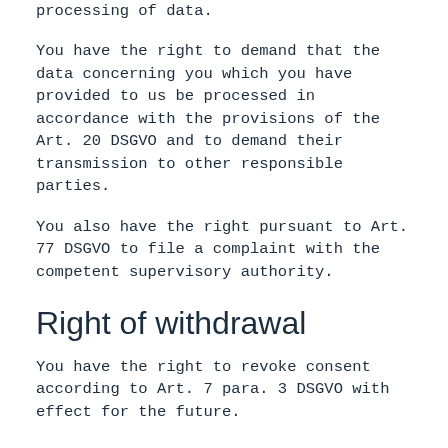processing of data.
You have the right to demand that the data concerning you which you have provided to us be processed in accordance with the provisions of the Art. 20 DSGVO and to demand their transmission to other responsible parties.
You also have the right pursuant to Art. 77 DSGVO to file a complaint with the competent supervisory authority.
Right of withdrawal
You have the right to revoke consent according to Art. 7 para. 3 DSGVO with effect for the future.
Right of objection
You can object at any time to the future processing...